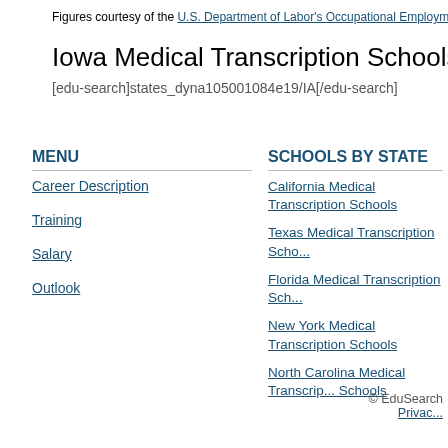Figures courtesy of the U.S. Department of Labor's Occupational Employm...
Iowa Medical Transcription Schools Enrolling Now...
[edu-search]states_dyna105001084e19/IA[/edu-search]
MENU
Career Description
Training
Salary
Outlook
SCHOOLS BY STATE
California Medical Transcription Schools
Texas Medical Transcription Schools
Florida Medical Transcription Schools
New York Medical Transcription Schools
North Carolina Medical Transcription Schools
© EduSearch  Privacy